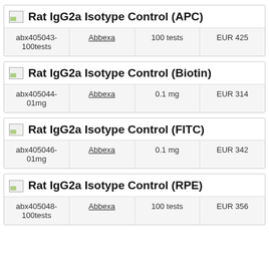Rat IgG2a Isotype Control (APC)
|  |  |  |  |
| --- | --- | --- | --- |
| abx405043-100tests | Abbexa | 100 tests | EUR 425 |
Rat IgG2a Isotype Control (Biotin)
|  |  |  |  |
| --- | --- | --- | --- |
| abx405044-01mg | Abbexa | 0.1 mg | EUR 314 |
Rat IgG2a Isotype Control (FITC)
|  |  |  |  |
| --- | --- | --- | --- |
| abx405046-01mg | Abbexa | 0.1 mg | EUR 342 |
Rat IgG2a Isotype Control (RPE)
|  |  |  |  |
| --- | --- | --- | --- |
| abx405048-100tests | Abbexa | 100 tests | EUR 356 |